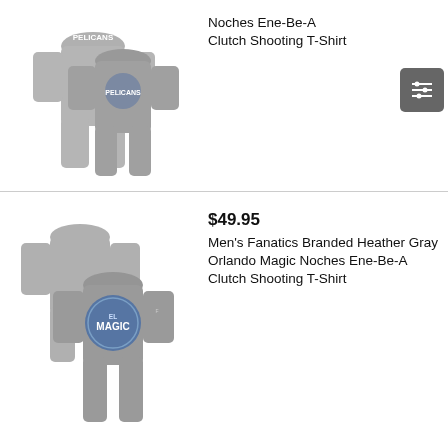[Figure (photo): Two heather gray Pelicans Noches Ene-Be-A Clutch Shooting T-Shirts shown front and back view]
Noches Ene-Be-A Clutch Shooting T-Shirt
[Figure (photo): Filter/settings icon button (gray square with sliders icon)]
$49.95
[Figure (photo): Two heather gray Orlando Magic Noches Ene-Be-A Clutch Shooting T-Shirts shown front and back view, with EL MAGIC logo on chest]
Men's Fanatics Branded Heather Gray Orlando Magic Noches Ene-Be-A Clutch Shooting T-Shirt